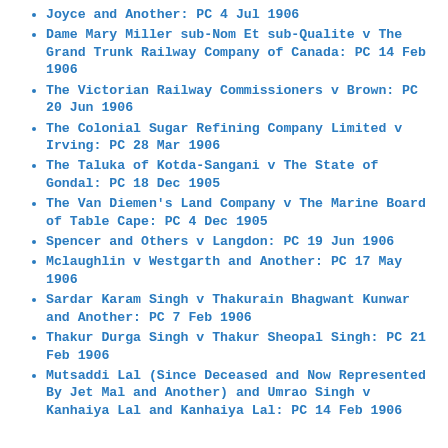Joyce and Another: PC 4 Jul 1906
Dame Mary Miller sub-Nom Et sub-Qualite v The Grand Trunk Railway Company of Canada: PC 14 Feb 1906
The Victorian Railway Commissioners v Brown: PC 20 Jun 1906
The Colonial Sugar Refining Company Limited v Irving: PC 28 Mar 1906
The Taluka of Kotda-Sangani v The State of Gondal: PC 18 Dec 1905
The Van Diemen's Land Company v The Marine Board of Table Cape: PC 4 Dec 1905
Spencer and Others v Langdon: PC 19 Jun 1906
Mclaughlin v Westgarth and Another: PC 17 May 1906
Sardar Karam Singh v Thakurain Bhagwant Kunwar and Another: PC 7 Feb 1906
Thakur Durga Singh v Thakur Sheopal Singh: PC 21 Feb 1906
Mutsaddi Lal (Since Deceased and Now Represented By Jet Mal and Another) and Umrao Singh v Kanhaiya Lal and Kanhaiya Lal: PC 14 Feb 1906